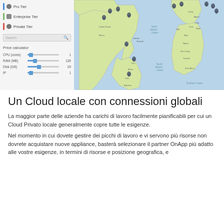[Figure (screenshot): Cloud management interface showing left panel with tier options (Pro Tier, Enterprise Tier, Private Tier), a search box, price calculator with sliders for CPU (cores)=1, RAM (MB)=128, Disk (GB)=20, IP=1, and a world map on the right with location pins.]
Un Cloud locale con connessioni globali
La maggior parte delle aziende ha carichi di lavoro facilmente pianificabili per cui un Cloud Privato locale generalmente copre tutte le esigenze.
Nel momento in cui dovete gestire dei picchi di lavoro e vi servono più risorse non dovrete acquistare nuove appliance, basterà selezionare il partner OnApp più adatto alle vostre esigenze, in termini di risorse e posizione geografica, e